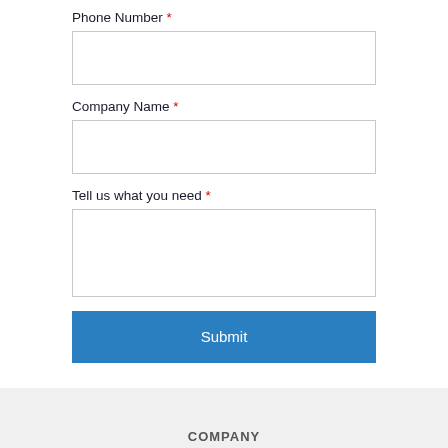Phone Number *
[Figure (other): Empty single-line input field for Phone Number]
Company Name *
[Figure (other): Empty single-line input field for Company Name]
Tell us what you need *
[Figure (other): Empty multi-line textarea for Tell us what you need]
Submit
COMPANY